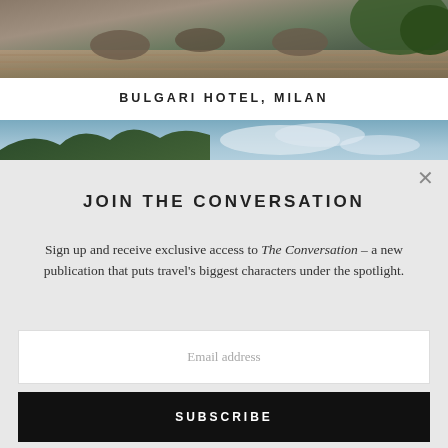[Figure (photo): Top strip of a hotel terrace/outdoor seating area with wicker furniture and greenery]
BULGARI HOTEL, MILAN
[Figure (photo): Landscape photo showing green tree-covered hills and a blue sky with clouds]
JOIN THE CONVERSATION
Sign up and receive exclusive access to The Conversation – a new publication that puts travel's biggest characters under the spotlight.
Email address
SUBSCRIBE